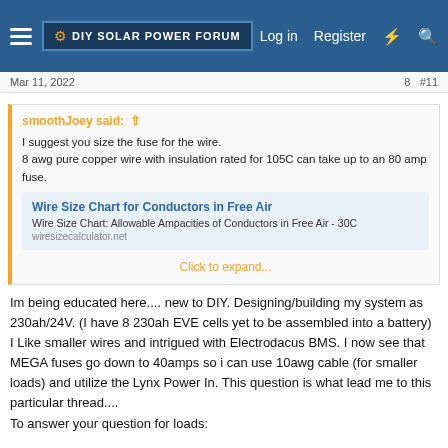DIY Solar Power Forum | Log in | Register
Mar 11, 2022
smoothJoey said: ↑
I suggest you size the fuse for the wire.
8 awg pure copper wire with insulation rated for 105C can take up to an 80 amp fuse.
Wire Size Chart for Conductors in Free Air
Wire Size Chart: Allowable Ampacities of Conductors in Free Air - 30C
wiresizecalculator.net
Click to expand...
Im being educated here.... new to DIY. Designing/building my system as 230ah/24V. (I have 8 230ah EVE cells yet to be assembled into a battery) I Like smaller wires and intrigued with Electrodacus BMS. I now see that MEGA fuses go down to 40amps so i can use 10awg cable (for smaller loads) and utilize the Lynx Power In. This question is what lead me to this particular thread....
To answer your question for loads: